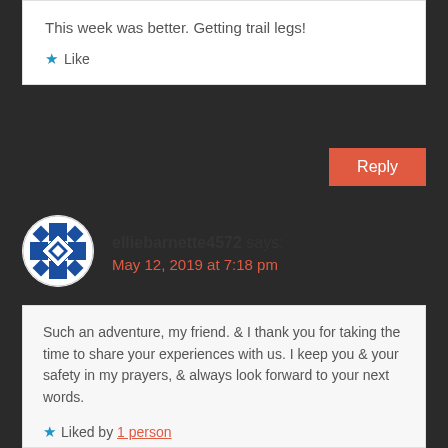This week was better. Getting trail legs!
★ Like
Reply
elliebarnette4572 says: May 12, 2019 at 7:18 pm
Such an adventure, my friend. & I thank you for taking the time to share your experiences with us. I keep you & your safety in my prayers, & always look forward to your next words.
★ Liked by 1 person